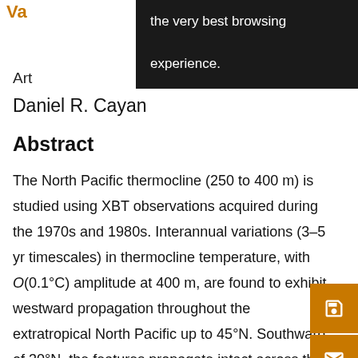Va... [orange header bar, partially obscured]
Art[icle - partially obscured by tooltip]
Daniel R. Cayan
Abstract
The North Pacific thermocline (250 to 400 m) is studied using XBT observations acquired during the 1970s and 1980s. Interannual variations (3–5 yr timescales) in thermocline temperature, with O(0.1°C) amplitude at 400 m, are found to exhibit westward propagation throughout the extratropical North Pacific up to 45°N. Southward of 30°N, the features propagate intact across the basin from the eastern boundary to the western boundary. Northward of 30°N, the features can be observed to prop